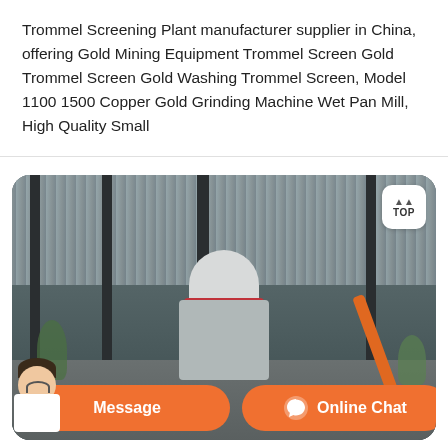Trommel Screening Plant manufacturer supplier in China, offering Gold Mining Equipment Trommel Screen Gold Trommel Screen Gold Washing Trommel Screen, Model 1100 1500 Copper Gold Grinding Machine Wet Pan Mill, High Quality Small
[Figure (photo): Photo of a large industrial mining machine (cone crusher or wet pan mill) installed under a steel-framed roof structure, with an orange excavator arm visible on the right side and trees in the background. A 'TOP' navigation button overlay is visible in the top-right corner of the image.]
Message
Online Chat